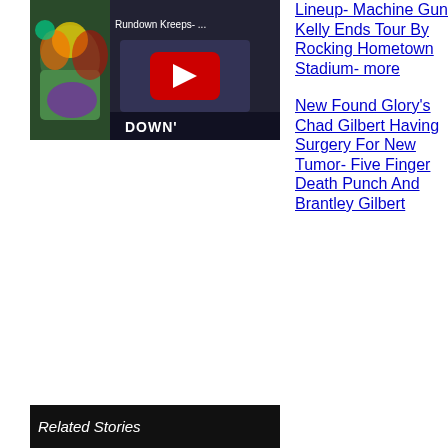[Figure (screenshot): YouTube video thumbnail for 'Rundown Kreeps- ...' with play button and DOWN text visible]
Lineup- Machine Gun Kelly Ends Tour By Rocking Hometown Stadium- more
New Found Glory's Chad Gilbert Having Surgery For New Tumor- Five Finger Death Punch And Brantley Gilbert
Related Stories